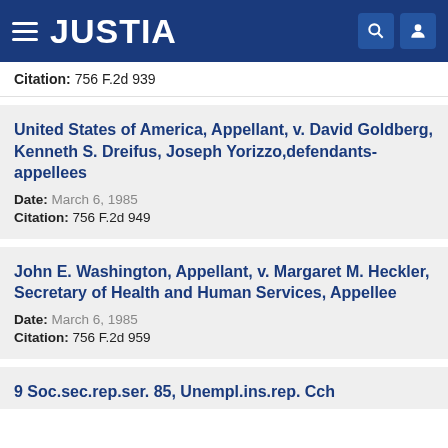JUSTIA
Citation: 756 F.2d 939
United States of America, Appellant, v. David Goldberg, Kenneth S. Dreifus, Joseph Yorizzo,defendants-appellees
Date: March 6, 1985
Citation: 756 F.2d 949
John E. Washington, Appellant, v. Margaret M. Heckler, Secretary of Health and Human Services, Appellee
Date: March 6, 1985
Citation: 756 F.2d 959
9 Soc.sec.rep.ser. 85, Unempl.ins.rep. Cch